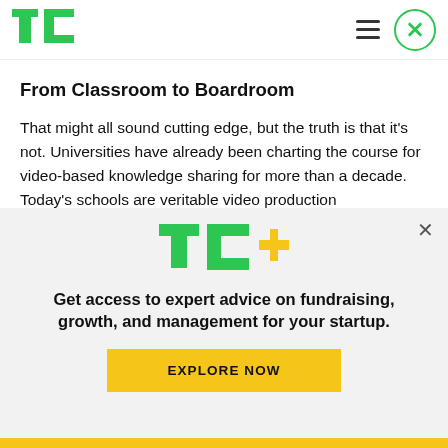TechCrunch logo and navigation
From Classroom to Boardroom
That might all sound cutting edge, but the truth is that it's not. Universities have already been charting the course for video-based knowledge sharing for more than a decade. Today's schools are veritable video production powerhouses: the University of
[Figure (logo): TC+ logo in green and yellow]
Get access to expert advice on fundraising, growth, and management for your startup.
EXPLORE NOW